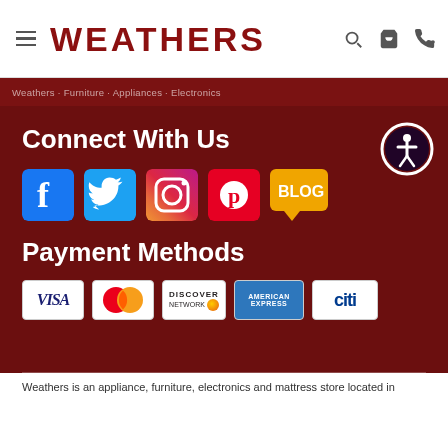WEATHERS
Weathers · Furniture · Appliances · Electronics
Connect With Us
[Figure (illustration): Social media icons: Facebook, Twitter, Instagram, Pinterest, Blog]
Payment Methods
[Figure (illustration): Payment method logos: Visa, Mastercard, Discover, American Express, Citi]
Weathers is an appliance, furniture, electronics and mattress store located in